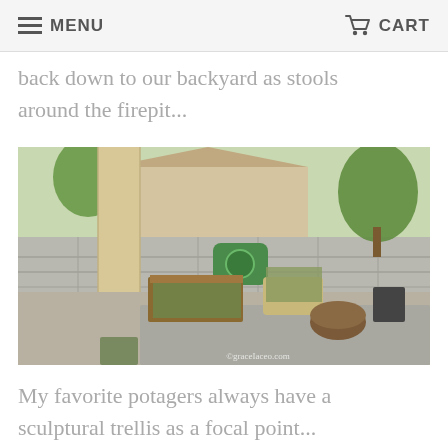MENU   CART
back down to our backyard as stools around the firepit...
[Figure (photo): Outdoor backyard garden scene with raised wooden planter beds, potted plants, a large tree stump used as a stool, a concrete patio, and a block wall with a green decorative sign. A large column is visible in the foreground. Watermark reads ©graceIaceo.com]
My favorite potagers always have a sculptural trellis as a focal point...
[Figure (photo): Partial view of another outdoor garden scene with wooden fence and greenery, partially cut off at the bottom of the page.]